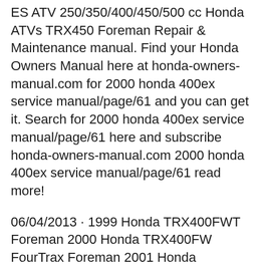ES ATV 250/350/400/450/500 cc Honda ATVs TRX450 Foreman Repair & Maintenance manual. Find your Honda Owners Manual here at honda-owners-manual.com for 2000 honda 400ex service manual/page/61 and you can get it. Search for 2000 honda 400ex service manual/page/61 here and subscribe honda-owners-manual.com 2000 honda 400ex service manual/page/61 read more!
06/04/2013 · 1999 Honda TRX400FWT Foreman 2000 Honda TRX400FW FourTrax Foreman 2001 Honda TRX400FW FourTrax Foreman 2002 Honda TRX400FM FourTrax Foreman 2003 Honda TRX400FM FourTrax